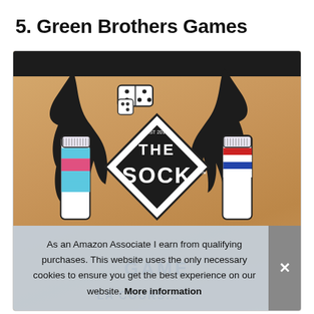5. Green Brothers Games
[Figure (photo): Product photo of 'The Sock Game' board game box on kraft/cardboard background with illustrated hands, dice, dominoes, and colorful socks visible. Cookie consent banner overlays the bottom portion of the image.]
As an Amazon Associate I earn from qualifying purchases. This website uses the only necessary cookies to ensure you get the best experience on our website. More information